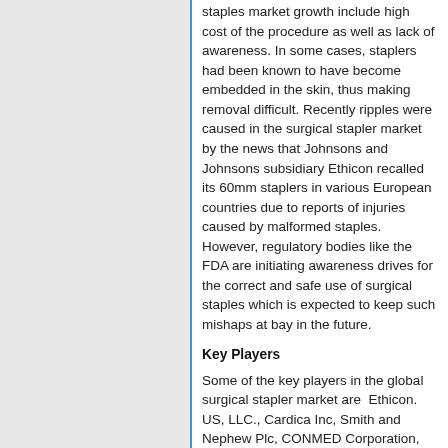staples market growth include high cost of the procedure as well as lack of awareness. In some cases, staplers had been known to have become embedded in the skin, thus making removal difficult. Recently ripples were caused in the surgical stapler market by the news that Johnsons and Johnsons subsidiary Ethicon recalled its 60mm staplers in various European countries due to reports of injuries caused by malformed staples. However, regulatory bodies like the FDA are initiating awareness drives for the correct and safe use of surgical staples which is expected to keep such mishaps at bay in the future.
Key Players
Some of the key players in the global surgical stapler market are  Ethicon. US, LLC., Cardica Inc, Smith and Nephew Plc, CONMED Corporation, Purple Surgical Inc., Welfare Medical Ltd, Reach Surgical, Grena Ltd, B.Braun Melsungen AG, Frankenman International Limited, Zimmer Biomet, Stryker, Meril Life Sciences Pvt. Ltd., Touchstone International Medical Science Co. Ltd, Medtronic.
Regional Analysis:
When the market is analyzed region-wise, North America, with its growing geriatric population and increasing number of surgical procedures that involve surgical stapling is expected to